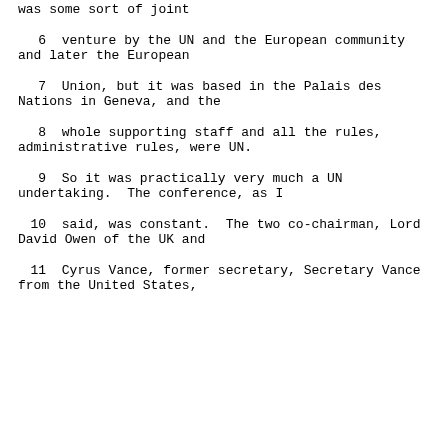was some sort of joint
6      venture by the UN and the European community and later the European
7      Union, but it was based in the Palais des Nations in Geneva, and the
8      whole supporting staff and all the rules, administrative rules, were UN.
9      So it was practically very much a UN undertaking.  The conference, as I
10     said, was constant.  The two co-chairman, Lord David Owen of the UK and
11     Cyrus Vance, former secretary, Secretary Vance from the United States,